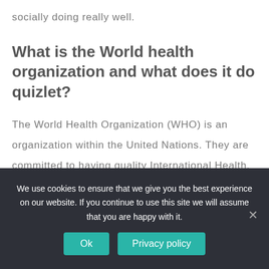socially doing really well.
What is the World health organization and what does it do quizlet?
The World Health Organization (WHO) is an organization within the United Nations. They are committed to having quality International Health. The World Health Organization is committed to having great health mentally, physically and socially in countries around the world.
We use cookies to ensure that we give you the best experience on our website. If you continue to use this site we will assume that you are happy with it.